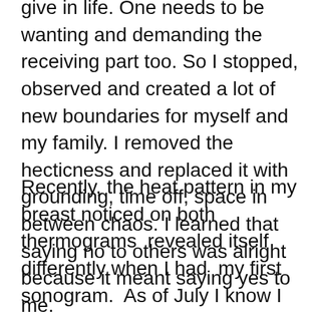give in life. One needs to be wanting and demanding the receiving part too. So I stopped, observed and created a lot of new boundaries for myself and my family. I removed the hecticness and replaced it with grounding, time off, space in between chaos. I learned that saying no to others was alright because it meant saying yes to me.
Recently, the heat pattern in my breast noticed on both thermograms  revealed itself differently when I had  my first sonogram.  As of July I know I have a 7mm lesion on my left breast. It is not necessarily cancer (risk are 1 out of 10) but it was hard to see exactly what it was so there is a big question mark on that tiny spot. At first, I was not too worried but determined to find more clarity. Then after some research I find it even harder to choose the